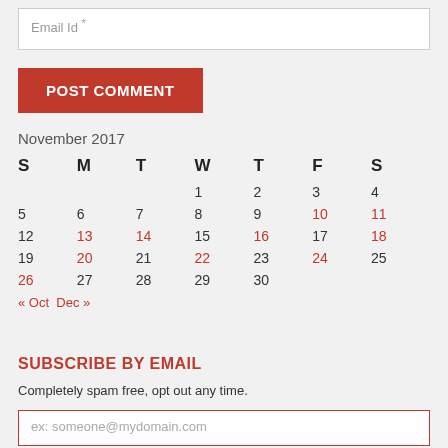Email Id *
POST COMMENT
November 2017
| S | M | T | W | T | F | S |
| --- | --- | --- | --- | --- | --- | --- |
|  |  |  | 1 | 2 | 3 | 4 |
| 5 | 6 | 7 | 8 | 9 | 10 | 11 |
| 12 | 13 | 14 | 15 | 16 | 17 | 18 |
| 19 | 20 | 21 | 22 | 23 | 24 | 25 |
| 26 | 27 | 28 | 29 | 30 |  |  |
« Oct   Dec »
SUBSCRIBE BY EMAIL
Completely spam free, opt out any time.
ex: someone@mydomain.com